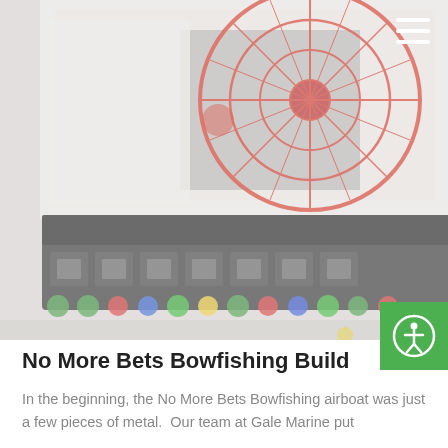[Figure (photo): An airboat labeled 'No More Bets' with a large red wire cage fan guard, parked in what appears to be a marine workshop or garage. The boat has colorful bowfishing lights and gear along its sides. The image has a faded/washed-out appearance.]
No More Bets Bowfishing Build
In the beginning, the No More Bets Bowfishing airboat was just a few pieces of metal.  Our team at Gale Marine put